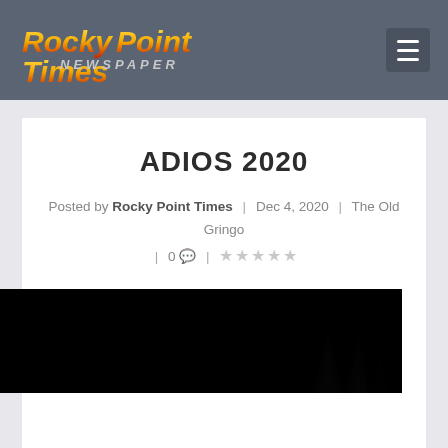Rocky Point Times NEWSPAPER
ADIOS 2020
Posted by Rocky Point Times | Dec 4, 2020 | The Old Gringo | 0 💬 | ★★★★★
[Figure (photo): Dark nighttime silhouette scene, mostly black with faint tree silhouettes visible]